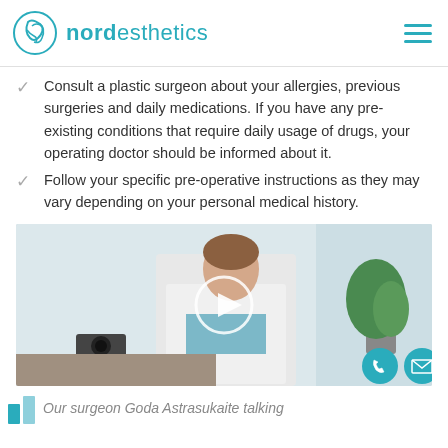nordesthetics
Consult a plastic surgeon about your allergies, previous surgeries and daily medications. If you have any pre-existing conditions that require daily usage of drugs, your operating doctor should be informed about it.
Follow your specific pre-operative instructions as they may vary depending on your personal medical history.
[Figure (photo): Video thumbnail showing a female doctor/surgeon in a white coat seated at a desk, with a play button overlay. Contact phone and email buttons visible at bottom right.]
Our surgeon Goda Astrasukaite talking